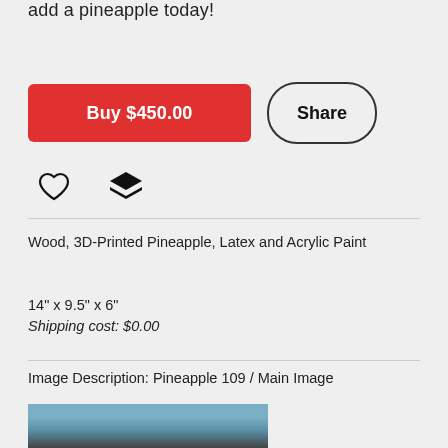add a pineapple today!
Buy $450.00
Share
Wood, 3D-Printed Pineapple, Latex and Acrylic Paint
14" x 9.5" x 6"
Shipping cost: $0.00
Image Description: Pineapple 109 / Main Image
[Figure (photo): Partial view of a blue and dark colored object at the bottom of the page]